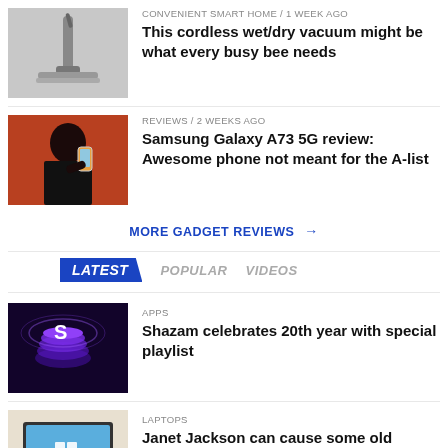[Figure (photo): Cordless wet/dry vacuum cleaner thumbnail]
CONVENIENT SMART HOME / 1 week ago
This cordless wet/dry vacuum might be what every busy bee needs
[Figure (photo): Person using Samsung Galaxy phone thumbnail]
REVIEWS / 2 weeks ago
Samsung Galaxy A73 5G review: Awesome phone not meant for the A-list
MORE GADGET REVIEWS →
LATEST  POPULAR  VIDEOS
[Figure (photo): Shazam app logo glowing cylinder thumbnail]
APPS
Shazam celebrates 20th year with special playlist
[Figure (photo): Old laptop computer with blue screen thumbnail]
LAPTOPS
Janet Jackson can cause some old laptops to crash